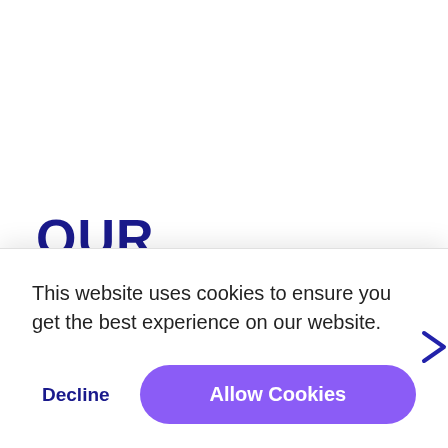OUR PROJECTS
Explore the family of our graphic design brands. Let's do
This website uses cookies to ensure you get the best experience on our website.
Decline
Allow Cookies